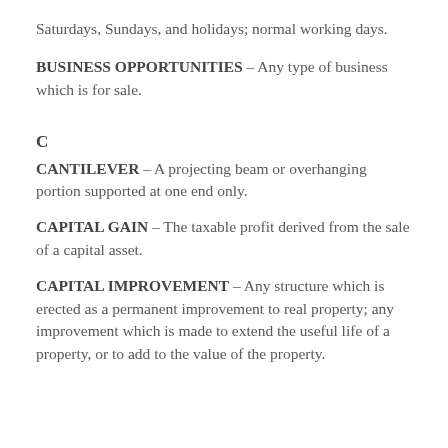Saturdays, Sundays, and holidays; normal working days.
BUSINESS OPPORTUNITIES – Any type of business which is for sale.
C
CANTILEVER – A projecting beam or overhanging portion supported at one end only.
CAPITAL GAIN – The taxable profit derived from the sale of a capital asset.
CAPITAL IMPROVEMENT – Any structure which is erected as a permanent improvement to real property; any improvement which is made to extend the useful life of a property, or to add to the value of the property.